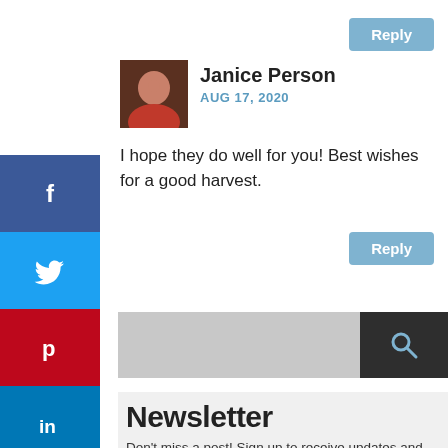[Figure (screenshot): Reply button at top right]
[Figure (photo): Avatar photo of Janice Person - woman in red top]
Janice Person
AUG 17, 2020
I hope they do well for you! Best wishes for a good harvest.
[Figure (screenshot): Reply button below comment]
[Figure (screenshot): Search bar with dark search button]
Newsletter
Don't miss a post! Sign up to receive updates and new posts directly to your inbox!